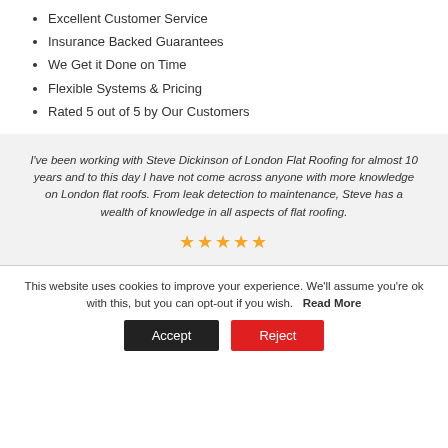Excellent Customer Service
Insurance Backed Guarantees
We Get it Done on Time
Flexible Systems & Pricing
Rated 5 out of 5 by Our Customers
I've been working with Steve Dickinson of London Flat Roofing for almost 10 years and to this day I have not come across anyone with more knowledge on London flat roofs. From leak detection to maintenance, Steve has a wealth of knowledge in all aspects of flat roofing.
★★★★★
This website uses cookies to improve your experience. We'll assume you're ok with this, but you can opt-out if you wish. Read More
Accept  Reject